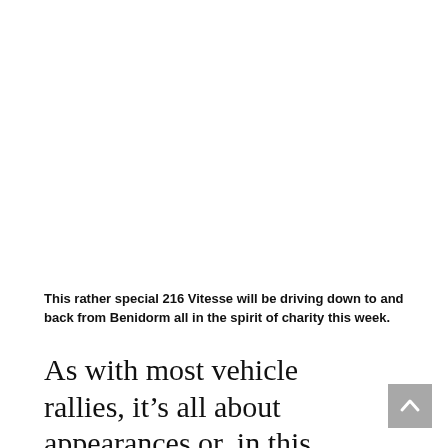This rather special 216 Vitesse will be driving down to and back from Benidorm all in the spirit of charity this week.
As with most vehicle rallies, it’s all about appearances or, in this particular case, keeping up with them. Next Wednesday,